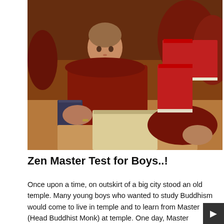[Figure (photo): Young Buddhist monks in red robes sitting at desks in a classroom, reading and studying. Books are stacked on wooden desks. A young monk in the foreground reads a small book. The scene is warmly lit with reddish-brown tones.]
Zen Master Test for Boys..!
Once upon a time, on outskirt of a big city stood an old temple. Many young boys who wanted to study Buddhism would come to live in temple and to learn from Master (Head Buddhist Monk) at temple. One day, Master decided to test his students. So he gathered all young boys around him and...